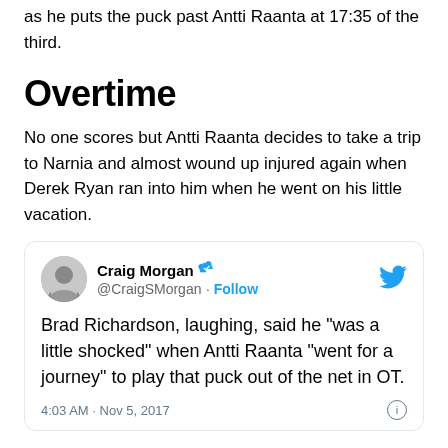as he puts the puck past Antti Raanta at 17:35 of the third.
Overtime
No one scores but Antti Raanta decides to take a trip to Narnia and almost wound up injured again when Derek Ryan ran into him when he went on his little vacation.
[Figure (screenshot): Embedded tweet from @CraigSMorgan (Craig Morgan, verified) saying: Brad Richardson, laughing, said he “was a little shocked” when Antti Raanta “went for a journey” to play that puck out of the net in OT. Timestamp: 4:03 AM · Nov 5, 2017]